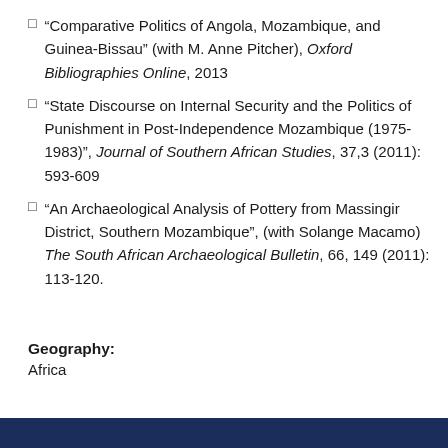“Comparative Politics of Angola, Mozambique, and Guinea-Bissau” (with M. Anne Pitcher), Oxford Bibliographies Online, 2013
“State Discourse on Internal Security and the Politics of Punishment in Post-Independence Mozambique (1975-1983)”, Journal of Southern African Studies, 37,3 (2011): 593-609
“An Archaeological Analysis of Pottery from Massingir District, Southern Mozambique”, (with Solange Macamo) The South African Archaeological Bulletin, 66, 149 (2011): 113-120.
Geography:
Africa